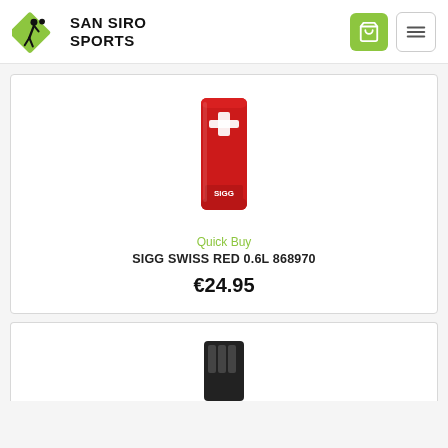[Figure (logo): San Siro Sports logo with green diamond shape and stylized athlete figure, plus cart and menu icons in header]
[Figure (photo): SIGG Swiss Red 0.6L water bottle, red aluminum with white Swiss cross design, model 868970]
Quick Buy
SIGG SWISS RED 0.6L 868970
€24.95
[Figure (photo): Partial view of a second product (black item, partially visible at bottom of page)]